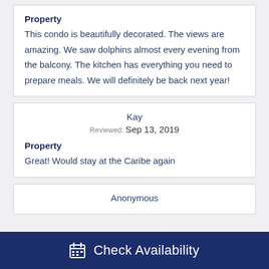Property
This condo is beautifully decorated. The views are amazing. We saw dolphins almost every evening from the balcony. The kitchen has everything you need to prepare meals. We will definitely be back next year!
Kay
Reviewed: Sep 13, 2019
Property
Great! Would stay at the Caribe again
Anonymous
Check Availability